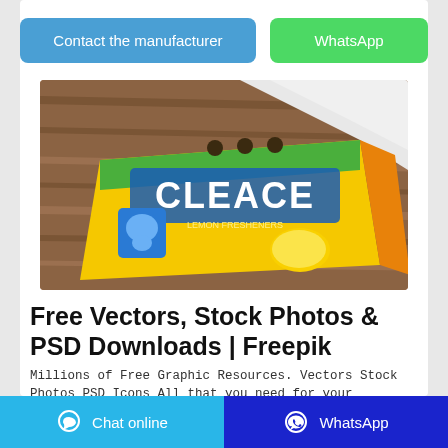Contact the manufacturer
WhatsApp
[Figure (photo): Photo of a yellow CLEACE lemon freshener product packet lying on a wooden surface with a white cloth/bag in the background]
Free Vectors, Stock Photos & PSD Downloads | Freepik
Millions of Free Graphic Resources. Vectors Stock Photos PSD Icons All that you need for your Creative Projects
Chat online
WhatsApp